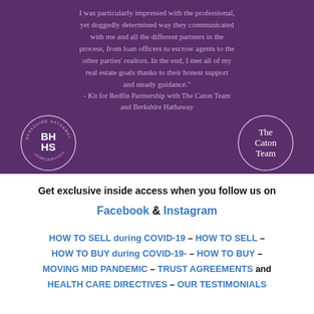[Figure (illustration): Purple background box with a testimonial quote in light purple text, a BHHS (Berkshire Hathaway HomeServices) circular logo on the left, and 'The Caton Team' circular logo on the right.]
I was particularly impressed with the professional, yet doggedly determined way they communicated with me and all the different partners in the process, from loan officers to escrow agents to the other parties' realtors. In the end, I met all of my real estate goals thanks to their honest support and steady guidance."
- Kit for Redfin Partnership with The Caton Team and Berkshire Hathaway
Get exclusive inside access when you follow us on Facebook & Instagram
HOW TO SELL during COVID-19 – HOW TO SELL – HOW TO BUY during COVID-19- – HOW TO BUY – MOVING MID PANDEMIC – TRUST AGREEMENTS and HEALTH CARE DIRECTIVES – OUR TESTIMONIALS